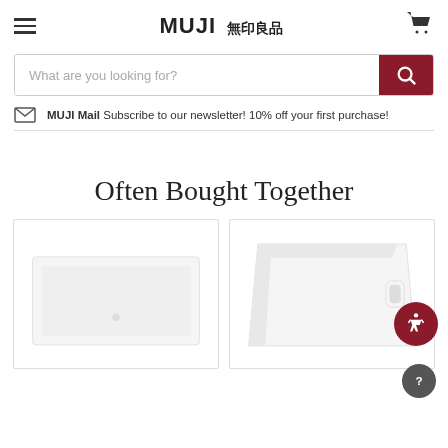MUJI 無印良品 — navigation header with hamburger menu, logo, and cart icon
What are you looking for?
MUJI Mail Subscribe to our newsletter! 10% off your first purchase!
Often Bought Together
[Figure (photo): White flat storage box product image on white background]
[Figure (photo): White open storage bin/box with handle cutout on white background]